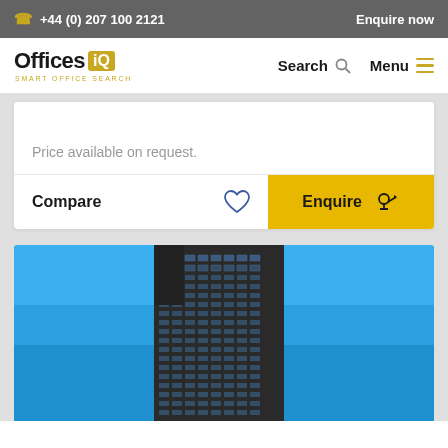+44 (0) 207 100 2121   Enquire now
[Figure (logo): Offices IQ logo with tagline SMART OFFICE SEARCH]
Search   Menu
Price available on request.
Compare   Enquire
[Figure (photo): Tall modern office building with dark glass facade against bright blue sky, viewed from below at an angle]